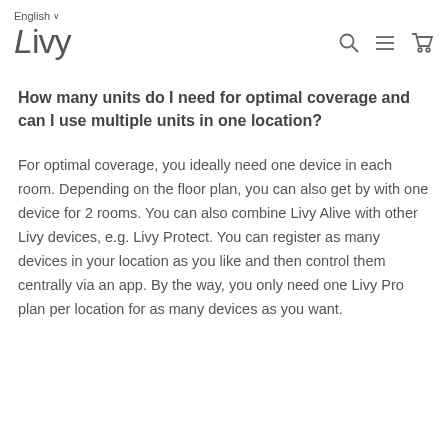English  ∨  Livy
How many units do I need for optimal coverage and can I use multiple units in one location?
For optimal coverage, you ideally need one device in each room. Depending on the floor plan, you can also get by with one device for 2 rooms. You can also combine Livy Alive with other Livy devices, e.g. Livy Protect. You can register as many devices in your location as you like and then control them centrally via an app. By the way, you only need one Livy Pro plan per location for as many devices as you want.